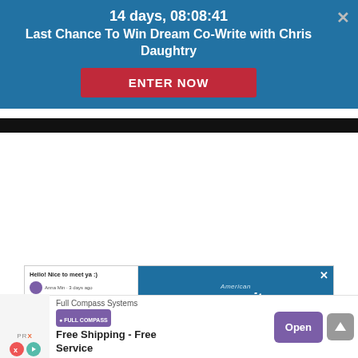14 days, 08:08:41
Last Chance To Win Dream Co-Write with Chris Daughtry
ENTER NOW
[Figure (screenshot): Screenshot of a social media post with 'Hello! Nice to meet ya :)' text and profile icons]
[Figure (screenshot): American Songwriter Membership advertisement with 'GET 2-WEEKS FREE' button on blue background]
Full Compass Systems
Free Shipping - Free Service
Open